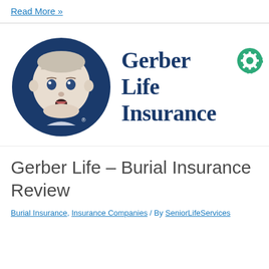Read More »
[Figure (logo): Gerber Life Insurance logo featuring the iconic Gerber baby in a dark blue circle on the left, and 'Gerber Life Insurance' text in dark blue serif font on the right with a green gear icon]
Gerber Life – Burial Insurance Review
Burial Insurance, Insurance Companies / By SeniorLifeServices